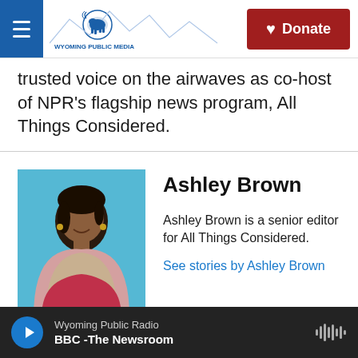Wyoming Public Media — Donate
trusted voice on the airwaves as co-host of NPR's flagship news program, All Things Considered.
Ashley Brown
Ashley Brown is a senior editor for All Things Considered.
See stories by Ashley Brown
Elena Burnett
Wyoming Public Radio — BBC -The Newsroom